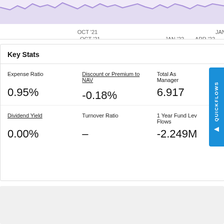[Figure (continuous-plot): Partial line/area chart with purple shading visible at top of page, x-axis showing OCT '21, JAN '22, APR '22]
Key Stats
| Expense Ratio | Discount or Premium to NAV | Total Assets Under Management | Dividend Yield | Turnover Ratio | 1 Year Fund Level Flows |
| --- | --- | --- | --- | --- | --- |
| 0.95% | -0.18% | 6.917B | 0.00% | – | -2.249M |
[Figure (other): QUICKFLOWS button (blue vertical tab)]